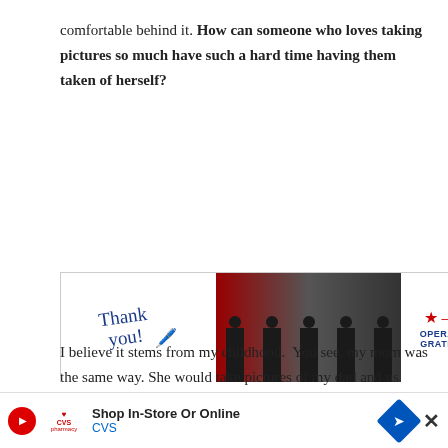comfortable behind it. How can someone who loves taking pictures so much have such a hard time having them taken of herself?
[Figure (other): Advertisement banner for Operation Gratitude showing 'Thank you!' text with a patriotic pencil illustration, a group of firefighters in front of fire trucks, and the Operation Gratitude logo with a star and chevron design. An X close button is in the upper right.]
I believe it stems from my childhood.  You see, my mom was the same way. She would take pictures of my dad and us kids… but she was never in any of the pictures herself. My dad would offer to take pictures of her occasionally… but she always refused. She felt fat… or she was having a bad hair d
[Figure (other): Bottom advertisement bar for CVS Pharmacy. Shows a red play button circle, CVS Pharmacy logo with heart, text 'Shop In-Store Or Online' and 'CVS' in blue, a blue diamond arrow icon, and an X close button.]